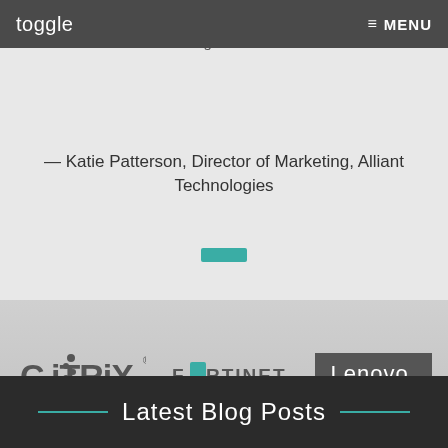toggle  ≡ MENU
and look forward to an opportunity to work with them again in the future.
— Katie Patterson, Director of Marketing, Alliant Technologies
[Figure (logo): Teal decorative divider bar]
[Figure (logo): Citrix, Fortinet, and Lenovo partner logos on grey background]
Latest Blog Posts